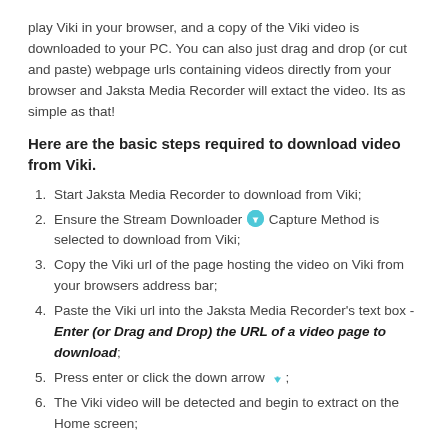play Viki in your browser, and a copy of the Viki video is downloaded to your PC. You can also just drag and drop (or cut and paste) webpage urls containing videos directly from your browser and Jaksta Media Recorder will extact the video. Its as simple as that!
Here are the basic steps required to download video from Viki.
Start Jaksta Media Recorder to download from Viki;
Ensure the Stream Downloader [icon] Capture Method is selected to download from Viki;
Copy the Viki url of the page hosting the video on Viki from your browsers address bar;
Paste the Viki url into the Jaksta Media Recorder's text box - Enter (or Drag and Drop) the URL of a video page to download;
Press enter or click the down arrow [icon];
The Viki video will be detected and begin to extract on the Home screen;